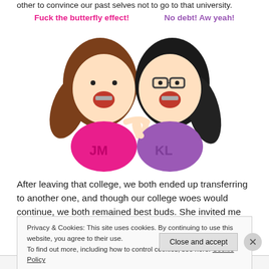other to convince our past selves not to go to that university.
Fuck the butterfly effect!  No debt! Aw yeah!
[Figure (illustration): Cartoon illustration of two young women pinky-swearing. Left character has brown hair in a ponytail, pink shirt with 'JM'. Right character has black hair in a ponytail, glasses, purple shirt with 'KL'.]
After leaving that college, we both ended up transferring to another one, and though our college woes would continue, we both remained best buds. She invited me to
Privacy & Cookies: This site uses cookies. By continuing to use this website, you agree to their use.
To find out more, including how to control cookies, see here: Cookie Policy
Close and accept
Advertisements